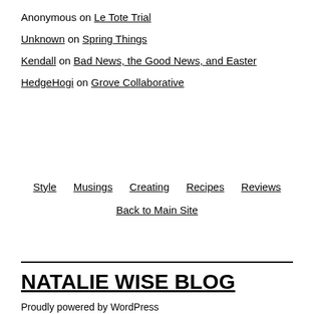Anonymous on Le Tote Trial
Unknown on Spring Things
Kendall on Bad News, the Good News, and Easter
HedgeHogi on Grove Collaborative
Style   Musings   Creating   Recipes   Reviews
Back to Main Site
NATALIE WISE BLOG
Proudly powered by WordPress